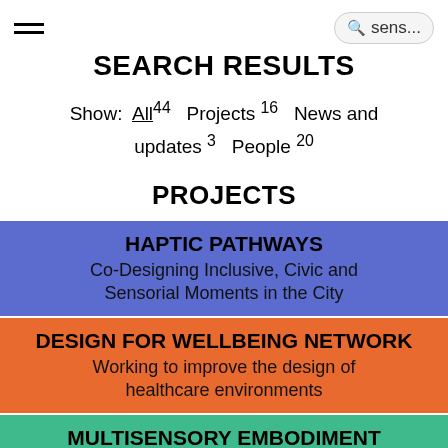SEARCH RESULTS | sens...
Show: All 44  Projects 16  News and updates 3  People 20
PROJECTS
HAPTIC PATHWAYS
Co-Designing Inclusive, Civic and Sensorial Moments in the City
DESIGN FOR WELLBEING NETWORK
Working to improve the design of healthcare environments
MULTISENSORY EMBODIMENT
Music, Movement & Memory in Dementia